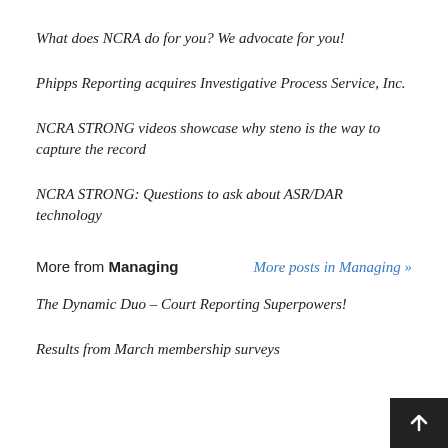What does NCRA do for you? We advocate for you!
Phipps Reporting acquires Investigative Process Service, Inc.
NCRA STRONG videos showcase why steno is the way to capture the record
NCRA STRONG: Questions to ask about ASR/DAR technology
More from Managing    More posts in Managing »
The Dynamic Duo – Court Reporting Superpowers!
Results from March membership surveys